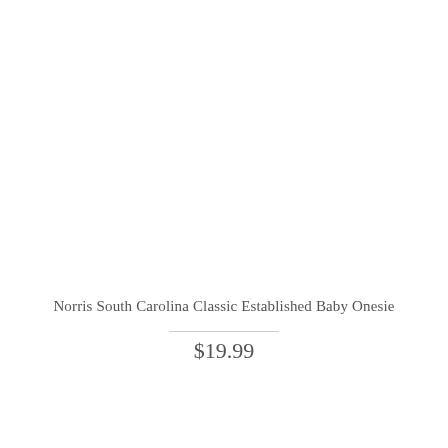Norris South Carolina Classic Established Baby Onesie
$19.99